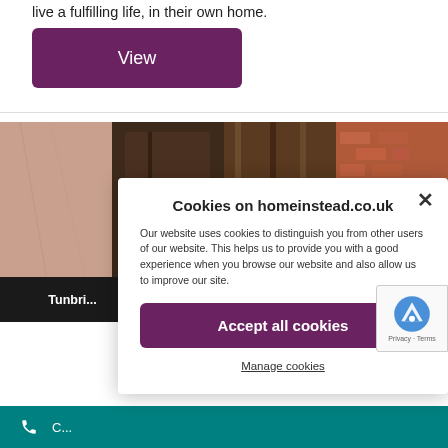live a fulfilling life, in their own home.
View
[Figure (photo): Strip of photos showing elderly care scenes including hands, wooden furniture/doors, and a brick building exterior]
Tunbridge
Cookies on homeinstead.co.uk
Our website uses cookies to distinguish you from other users of our website. This helps us to provide you with a good experience when you browse our website and also allow us to improve our site.
Accept all cookies
Manage cookies